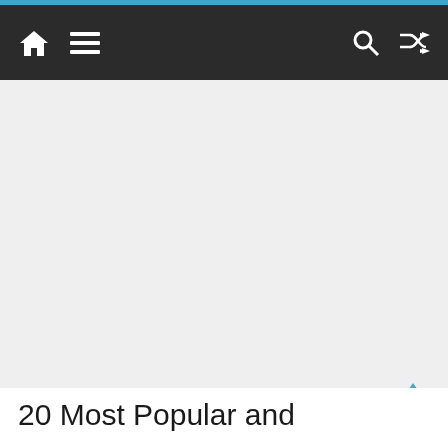Navigation bar with home, menu, search, and shuffle icons
[Figure (other): Large advertisement or placeholder image area with light gray background]
20 Most Popular and